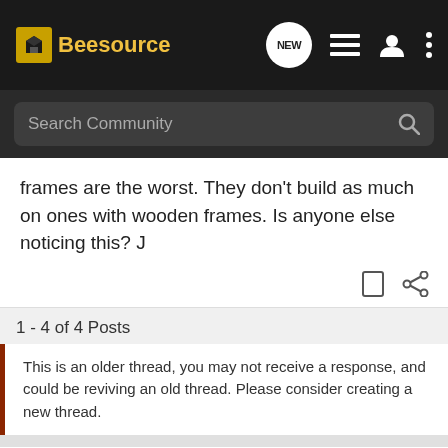[Figure (screenshot): Beesource community forum website header with logo, NEW chat icon, list icon, user icon, and menu icon on dark background]
[Figure (screenshot): Search Community input bar with magnifying glass icon on dark background]
frames are the worst. They don't build as much on ones with wooden frames. Is anyone else noticing this? J
1 - 4 of 4 Posts
This is an older thread, you may not receive a response, and could be reviving an old thread. Please consider creating a new thread.
Join the discussion
Continue with Facebook